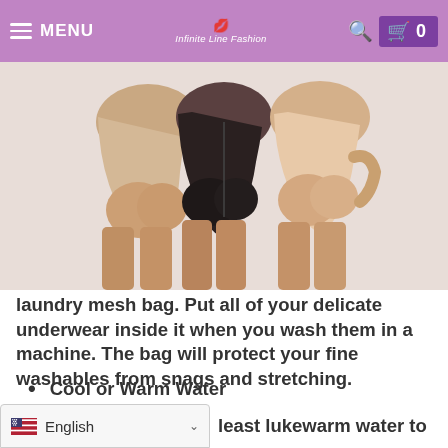MENU | Infinite Line Fashion | 0
[Figure (photo): Three women wearing shapewear/body shaper shorts in beige/nude, black, and light nude colors, shown from behind/side views against a light background.]
laundry mesh bag. Put all of your delicate underwear inside it when you wash them in a machine. The bag will protect your fine washables from snags and stretching.
Cool or Warm Water
Hot water could make threads on your delicate underwear even more delicate. It could shrink your elastic panties and also stretch your stocking out. It is best to opt for at least lukewarm water to
English